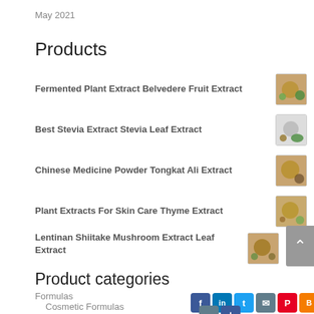May 2021
Products
Fermented Plant Extract Belvedere Fruit Extract
Best Stevia Extract Stevia Leaf Extract
Chinese Medicine Powder Tongkat Ali Extract
Plant Extracts For Skin Care Thyme Extract
Lentinan Shiitake Mushroom Extract Leaf Extract
Product categories
Formulas
Cosmetic Formulas